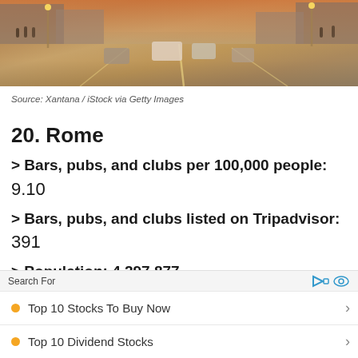[Figure (photo): Street scene of Rome with cars, motorcycles, and pedestrians on a wide city boulevard at dusk]
Source: Xantana / iStock via Getty Images
20. Rome
> Bars, pubs, and clubs per 100,000 people:
9.10
> Bars, pubs, and clubs listed on Tripadvisor:
391
> Population: 4,297,877
Search For
Top 10 Stocks To Buy Now
Top 10 Dividend Stocks